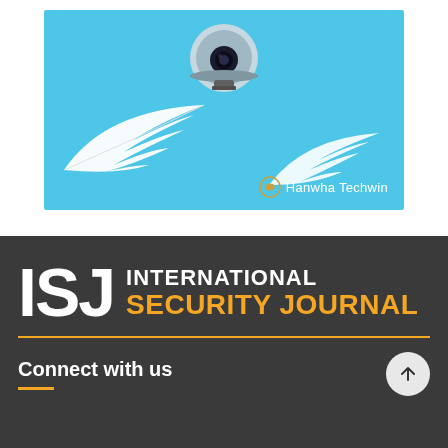[Figure (photo): Hanwha Techwin advertisement showing a dome security camera above white feathers on a bright blue background, with the Hanwha Techwin logo and brand name in the lower right.]
[Figure (logo): ISJ International Security Journal logo on dark grey background, with large white ISJ letters, white INTERNATIONAL text, and gold SECURITY JOURNAL text, followed by a gold horizontal divider line.]
Connect with us